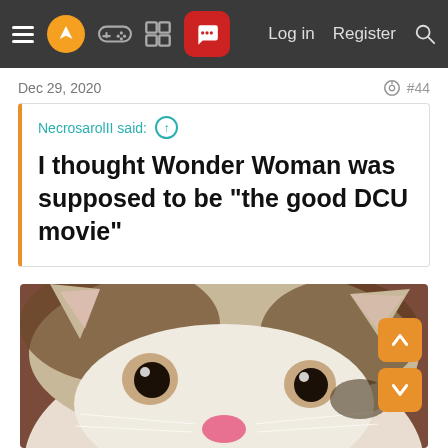Navigation bar with hamburger menu, logo, game controller icon, grid icon, active chat icon, Log in, Register, Search
Dec 29, 2020   #44
NecrosarolII said: ↑  I thought Wonder Woman was supposed to be "the good DCU movie"
[Figure (photo): Close-up photo of a cat with large wide eyes looking directly at the camera, white and brown/tabby coloring, pink nose visible, against a dark reddish-brown background]